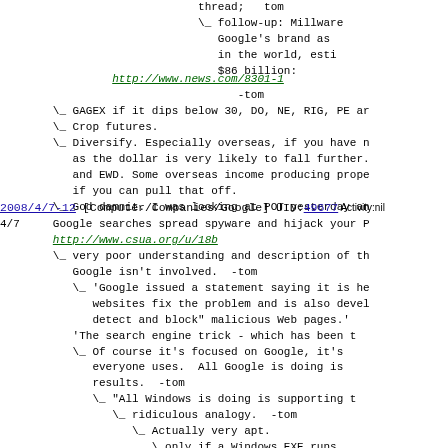\_  follow-up: Millware... Google's brand as ... in the world, esti... $86 billion:
http://www.news.com/8301-1...
-tom
\_ GAGEX if it dips below 30, DO, NE, RIG, PE ar...
\_ Crop futures.
\_ Diversify. Especially overseas, if you have n... as the dollar is very likely to fall further. and EWD. Some overseas income producing prope... if you can pull that off.
\_ God damnit. I was looking at POT yesterday an...
2008/4/7-12 [Computer/Companies/Google] UID:49677 Activity:nil
4/7   Google searches spread spyware and hijack your P...
http://www.csua.org/u/18b
\_ very poor understanding and description of th... Google isn't involved. -tom
\_ 'Google issued a statement saying it is he... websites fix the problem and is also devel... detect and block" malicious Web pages.'
'The search engine trick - which has been t...
\_ Of course it's focused on Google, it's... everyone uses. All Google is doing is... results. -tom
\_ "All Windows is doing is supporting t...
\_ ridiculous analogy. -tom
\_ Actually very apt.
\ only if a Windows EXE runs...